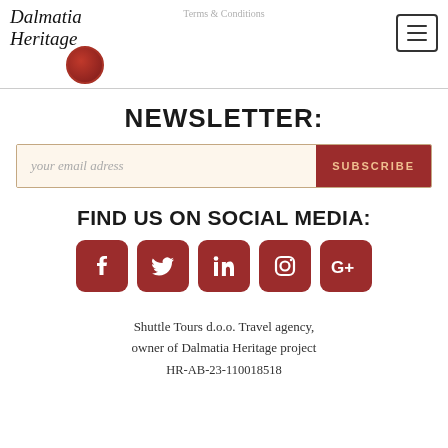Terms & Conditions
[Figure (logo): Dalmatia Heritage cursive logo with red wax seal]
NEWSLETTER:
your email adress
SUBSCRIBE
FIND US ON SOCIAL MEDIA:
[Figure (infographic): Row of 5 social media icons: Facebook, Twitter, LinkedIn, Instagram, Google+]
Shuttle Tours d.o.o. Travel agency, owner of Dalmatia Heritage project
HR-AB-23-110018518